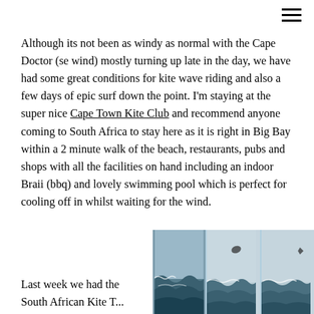Although its not been as windy as normal with the Cape Doctor (se wind) mostly turning up late in the day, we have had some great conditions for kite wave riding and also a few days of epic surf down the point. I'm staying at the super nice Cape Town Kite Club and recommend anyone coming to South Africa to stay here as it is right in Big Bay within a 2 minute walk of the beach, restaurants, pubs and shops with all the facilities on hand including an indoor Braii (bbq) and lovely swimming pool which is perfect for cooling off in whilst waiting for the wind.
Last week we had the South African Kite T...
[Figure (photo): Three side-by-side photos showing kitesurfing action shots with waves and sky, kitesurfers visible against grey sky with ocean waves.]